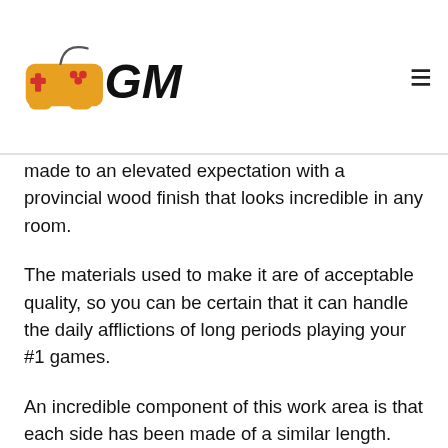GM (gaming/gaming desk review website logo)
made to an elevated expectation with a provincial wood finish that looks incredible in any room.
The materials used to make it are of acceptable quality, so you can be certain that it can handle the daily afflictions of long periods playing your #1 games.
An incredible component of this work area is that each side has been made of a similar length. This is extraordinary as it implies it can fit in any corner.
The other extraordinary element is that Best L-Shaped Gaming Desks has scaled off the back corner. Without the corner, in the way, it implies you will have no trouble